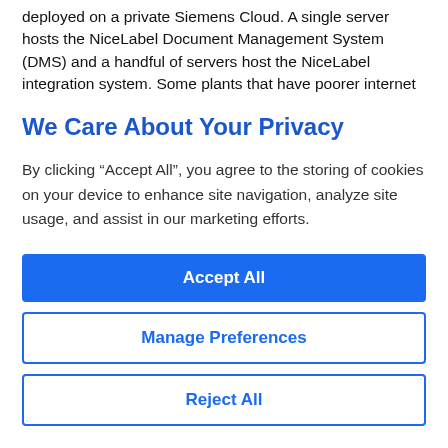deployed on a private Siemens Cloud. A single server hosts the NiceLabel Document Management System (DMS) and a handful of servers host the NiceLabel integration system. Some plants that have poorer internet
We Care About Your Privacy
By clicking “Accept All”, you agree to the storing of cookies on your device to enhance site navigation, analyze site usage, and assist in our marketing efforts.
Accept All
Manage Preferences
Reject All